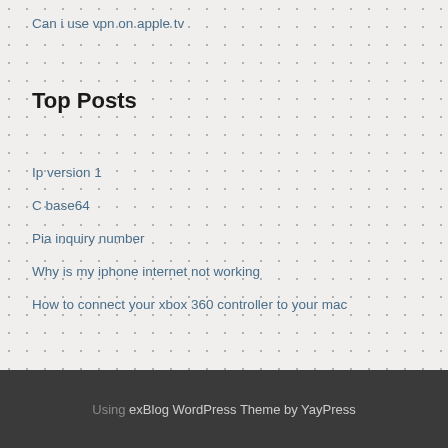Can i use vpn on apple tv
Top Posts
Ip version 1
C base64
Pia inquiry number
Why is my iphone internet not working
How to connect your xbox 360 controller to your mac
Using exBlog WordPress Theme by YayPress